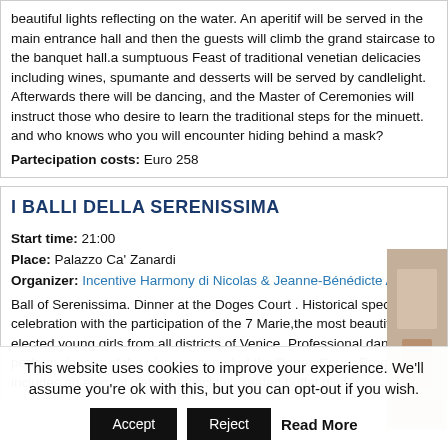beautiful lights reflecting on the water. An aperitif will be served in the main entrance hall and then the guests will climb the grand staircase to the banquet hall.a sumptuous Feast of traditional venetian delicacies including wines, spumante and desserts will be served by candlelight. Afterwards there will be dancing, and the Master of Ceremonies will instruct those who desire to learn the traditional steps for the minuett. and who knows who you will encounter hiding behind a mask?
Partecipation costs: Euro 258
I BALLI DELLA SERENISSIMA
Start time: 21:00
Place: Palazzo Ca' Zanardi
Organizer: Incentive Harmony di Nicolas & Jeanne-Bénédicte Arnita
Ball of Serenissima. Dinner at the Doges Court . Historical spectacle celebration with the participation of the 7 Marie,the most beautiful elected young girls from all districts of Venice. Professional dancers will perform dances of the glorious period of the Doges Court. Program includes an elegant welcome cocktail, seated buffet dinner,
This website uses cookies to improve your experience. We'll assume you're ok with this, but you can opt-out if you wish.